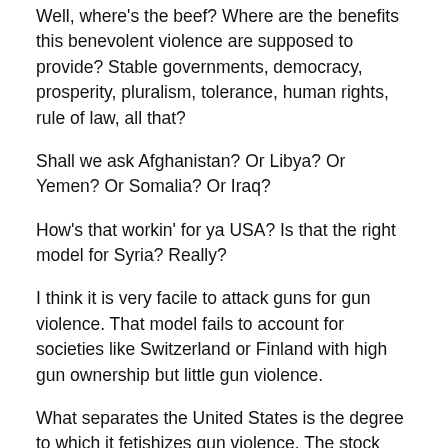Well, where's the beef? Where are the benefits this benevolent violence are supposed to provide? Stable governments, democracy, prosperity, pluralism, tolerance, human rights, rule of law, all that?
Shall we ask Afghanistan? Or Libya? Or Yemen? Or Somalia? Or Iraq?
How's that workin' for ya USA? Is that the right model for Syria? Really?
I think it is very facile to attack guns for gun violence. That model fails to account for societies like Switzerland or Finland with high gun ownership but little gun violence.
What separates the United States is the degree to which it fetishizes gun violence. The stock character of the Western hero has morphed into the hard nosed cop and